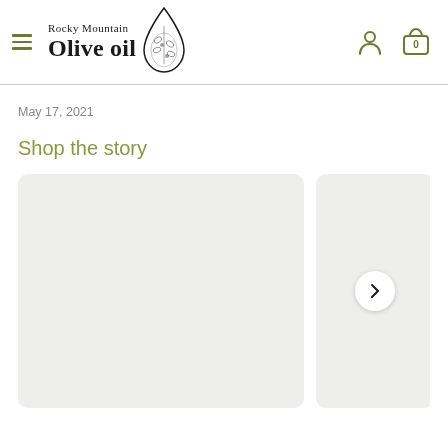Rocky Mountain Olive oil — navigation header with hamburger menu, logo, user icon, and cart (0)
May 17, 2021
Shop the story
[Figure (other): Two product card placeholders in a horizontal scroll row, with a right-arrow navigation button on the second card]